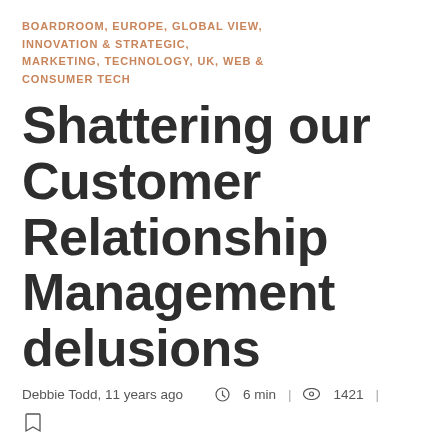BOARDROOM, EUROPE, GLOBAL VIEW, INNOVATION & STRATEGIC, MARKETING, TECHNOLOGY, UK, WEB & CONSUMER TECH
Shattering our Customer Relationship Management delusions
Debbie Todd, 11 years ago  6 min  |  1421  |
[bookmark icon]
Ever wondered what would happen if anyone actually bothered to